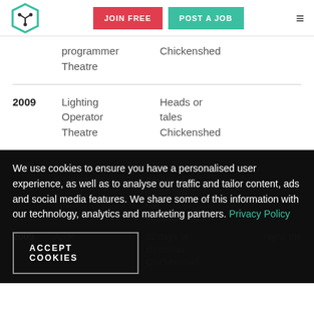JOIN FREE | POST A JOB
| Year | Role | Production |
| --- | --- | --- |
|  | programmer Theatre | Chickenshed |
| 2009 | Lighting Operator Theatre | Heads or tales Chickenshed |
| 2009 | Av programmer Operator Theatre | As the mother of a brown boy has Chickenshed |
| 2009 | ASM | 12 days of christmas Chickenshed | rayne the |
We use cookies to ensure you have a personalised user experience, as well as to analyse our traffic and tailor content, ads and social media features. We share some of this information with our technology, analytics and marketing partners. Privacy Policy
ACCEPT COOKIES